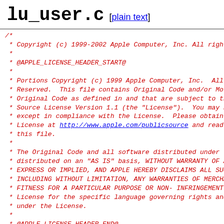lu_user.c [plain text]
/*
 * Copyright (c) 1999-2002 Apple Computer, Inc. All righ
 *
 * @APPLE_LICENSE_HEADER_START@
 *
 * Portions Copyright (c) 1999 Apple Computer, Inc.  All
 * Reserved.  This file contains Original Code and/or Mo
 * Original Code as defined in and that are subject to th
 * Source License Version 1.1 (the "License").  You may n
 * except in compliance with the License.  Please obtain
 * License at http://www.apple.com/publicsource and read
 * this file.
 *
 * The Original Code and all software distributed under t
 * distributed on an "AS IS" basis, WITHOUT WARRANTY OF A
 * EXPRESS OR IMPLIED, AND APPLE HEREBY DISCLAIMS ALL SUC
 * INCLUDING WITHOUT LIMITATION, ANY WARRANTIES OF MERCHA
 * FITNESS FOR A PARTICULAR PURPOSE OR NON- INFRINGEMENT.
 * License for the specific language governing rights and
 * under the License.
 *
 * @APPLE_LICENSE_HEADER_END@
 */
/*
 * user information (passwd) lookup
 * Copyright (C) 1999 by NeXT, Inc.